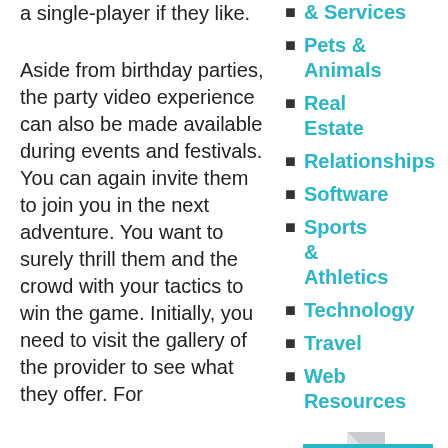a single-player if they like.
Aside from birthday parties, the party video experience can also be made available during events and festivals. You can again invite them to join you in the next adventure. You want to surely thrill them and the crowd with your tactics to win the game. Initially, you need to visit the gallery of the provider to see what they offer. For
& Services
Pets & Animals
Real Estate
Relationships
Software
Sports & Athletics
Technology
Travel
Web Resources
[Figure (other): Teal/cyan colored badge with text 'BEST' and a folded corner graphic in gray/white above it]